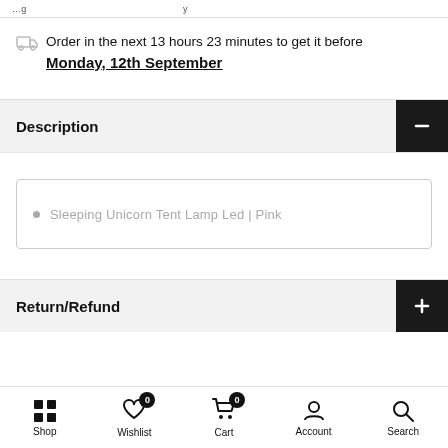…g…p…y
Order in the next 13 hours 23 minutes to get it before Monday, 12th September
Description
Sleeping Unicorn Tent Lamp Led | Pink
Return/Refund
Shop | Wishlist 0 | Cart 0 | Account | Search